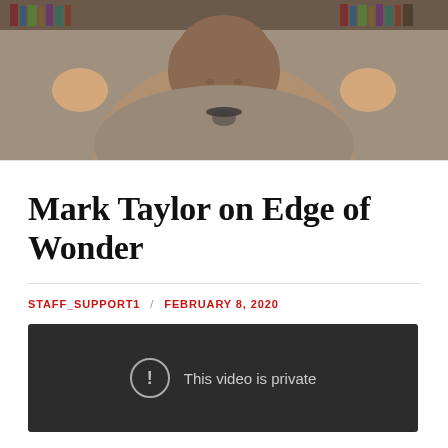[Figure (photo): Video thumbnail showing a woman with brown hair wearing a tan/grey cardigan and beaded necklace, gesturing with both hands raised, with bookshelves visible in the background.]
Mark Taylor on Edge of Wonder
STAFF_SUPPORT1 / FEBRUARY 8, 2020
[Figure (screenshot): Embedded video player with dark background showing 'This video is private' message with a circular exclamation mark icon.]